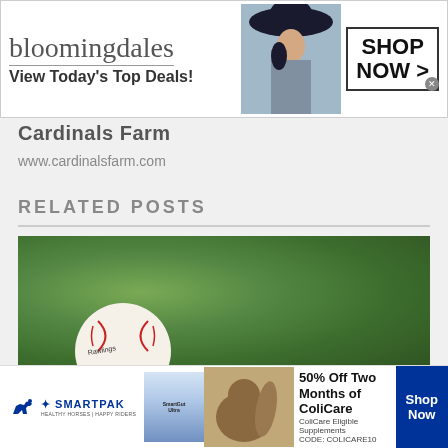[Figure (photo): Bloomingdales advertisement banner with logo, 'View Today's Top Deals!' tagline, woman in hat, and 'SHOP NOW >' button]
Cardinals Farm
www.cardinalsfarm.com
RELATED POSTS
[Figure (photo): Rawlings baseball resting on green grass/foliage background]
[Figure (photo): SmartPak advertisement banner: '50% Off Two Months of ColiCare. ColiCare Eligible Supplements CODE: COLICARE10. Shop Now']